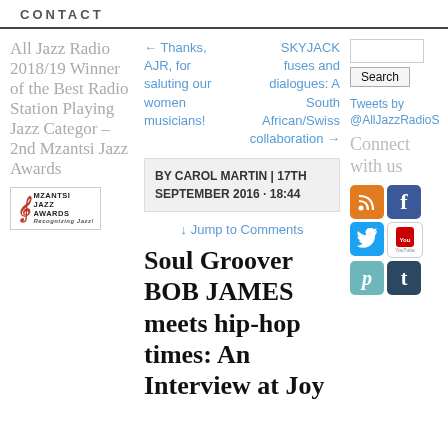CONTACT
All Jazz Radio 2018/19 Winner of the Best Radio Station Playing Jazz Category – 2nd Mzantsi Jazz Awards
← Thanks, AJR, for saluting our women musicians!
SKYJACK fuses and dialogues: A South African/Swiss collaboration →
Tweets by @AllJazzRadioS
BY CAROL MARTIN | 17TH SEPTEMBER 2016 · 18:44
↓ Jump to Comments
Soul Groover BOB JAMES meets hip-hop times: An Interview at Joy
Connect with us
[Figure (logo): Mzantsi Jazz Awards logo with saxophone icon]
[Figure (infographic): Social media icons: RSS, Facebook, Twitter, YouTube, Pearltrees, Tumblr]